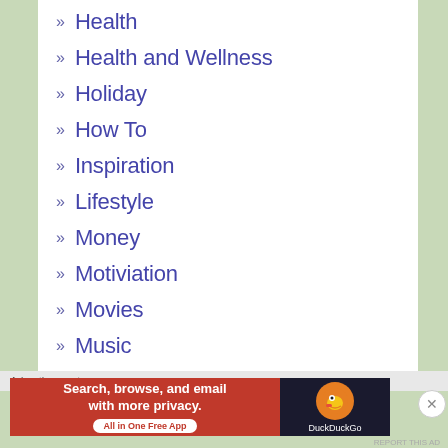» Health
» Health and Wellness
» Holiday
» How To
» Inspiration
» Lifestyle
» Money
» Motiviation
» Movies
» Music
» Natural Hair
» New-Year-Resolution
» Northeastern Oklahoma
Advertisements
[Figure (other): DuckDuckGo advertisement banner: 'Search, browse, and email with more privacy. All in One Free App' with DuckDuckGo logo on dark background]